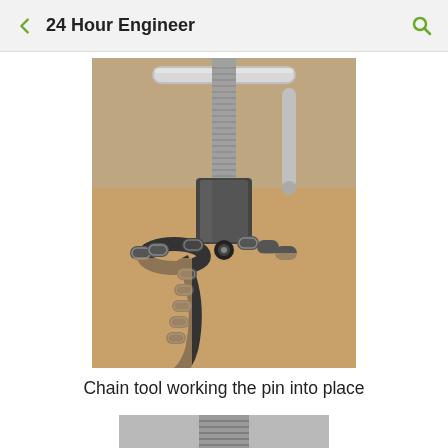24 Hour Engineer
[Figure (photo): A chain tool pressing a pin into a bicycle chain. The tool has a threaded screw mechanism with a metal body pressing down on the chain links, which are resting on a wooden surface.]
Chain tool working the pin into place
[Figure (photo): Partial view of a metal component, bottom of page, appears to be another tool or chain detail.]